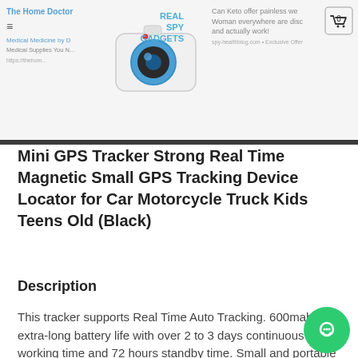Real Spy Gadgets — navigation header with logo
Mini GPS Tracker Strong Real Time Magnetic Small GPS Tracking Device Locator for Car Motorcycle Truck Kids Teens Old (Black)
Description
This tracker supports Real Time Auto Tracking. 600mah extra-long battery life with over 2 to 3 days continuous working time and 72 hours standby time. Small and portable design. Ideal to be put into backpacks and carry around